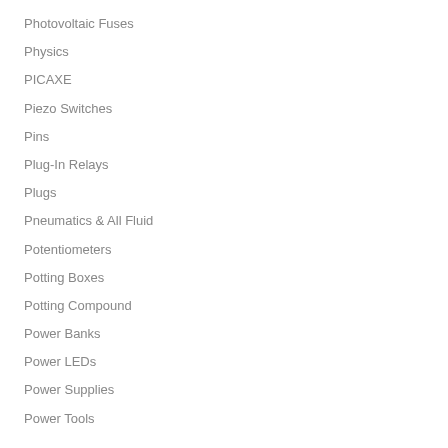Photovoltaic Fuses
Physics
PICAXE
Piezo Switches
Pins
Plug-In Relays
Plugs
Pneumatics & All Fluid
Potentiometers
Potting Boxes
Potting Compound
Power Banks
Power LEDs
Power Supplies
Power Tools